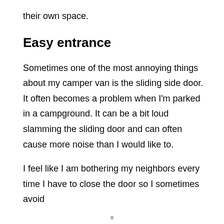their own space.
Easy entrance
Sometimes one of the most annoying things about my camper van is the sliding side door. It often becomes a problem when I'm parked in a campground. It can be a bit loud slamming the sliding door and can often cause more noise than I would like to.
I feel like I am bothering my neighbors every time I have to close the door so I sometimes avoid
x